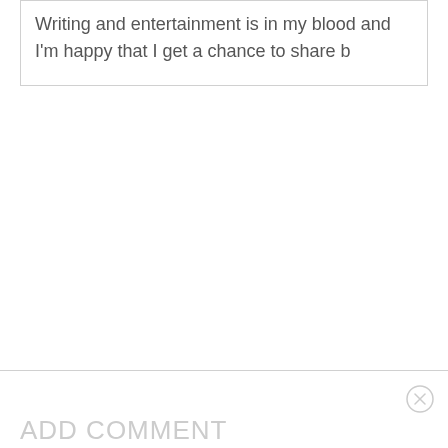Writing and entertainment is in my blood and I’m happy that I get a chance to share b
[Figure (other): Close/dismiss button (circle with X)]
ADD COMMENT